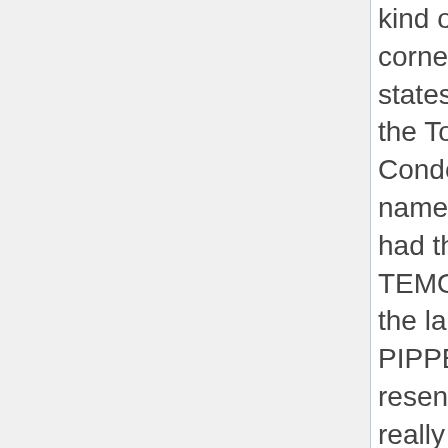kind of person who would go in the corner and jack off". [...] PIPPER states that the person in charge of the Top of the Village Condominiums, a person by the name of Chris, last name unknown, had three run-ins with suspect TEMOS, because he was sleeping in the laundry and maids' rooms. PIPPER states that TEMOS is very resentful to authority and that he really scared Chris, Chris thought that he was going to be assaulted by TEMOS. PIPPER states that TEMOS is a white, male, American, 27-30 years, 180-195#, very good muscular build, light green or blue eyes, unshaven, wore tennis shoes